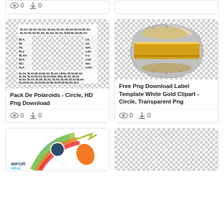[Figure (other): Top-left card partial: view icon 0, download icon 0]
[Figure (other): Top-right card partial: empty card]
[Figure (illustration): Pack De Polaroids - Circle, HD Png Download: a square frame made of handwritten BLAH BLAH text on transparent/checker background]
Pack De Polaroids - Circle, HD Png Download
0 0
[Figure (illustration): Free Png Download Label Template White Gold Clipart - Circle, Transparent Png: a metallic gold and silver badge/label on checker background]
Free Png Download Label Template White Gold Clipart - Circle, Transparent Png
0 0
[Figure (infographic): Bottom-left partial card: colorful infographic with circular elements and arrows, text IMPOR HEAL]
[Figure (other): Bottom-right partial card: transparent/checker background with faint circular element]